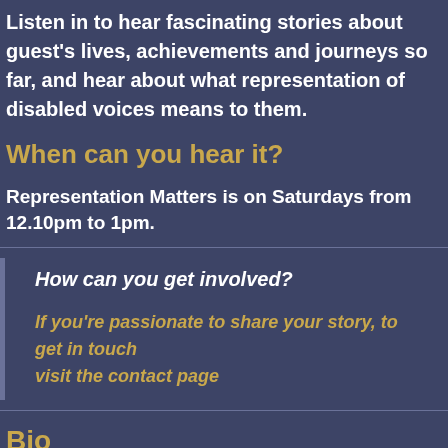Listen in to hear fascinating stories about guest's lives, achievements and journeys so far, and hear about what representation of disabled voices means to them.
When can you hear it?
Representation Matters is on Saturdays from 12.10pm to 1pm.
How can you get involved?
If you're passionate to share your story, to get in touch visit the contact page
Bio